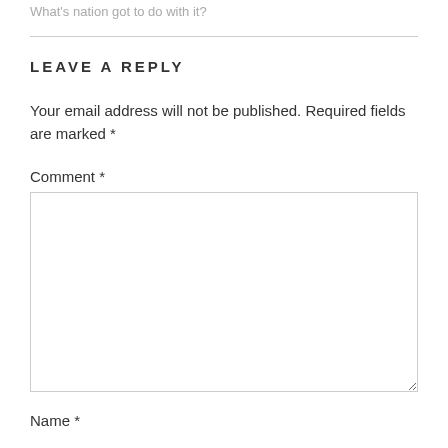What's nation got to do with it?
LEAVE A REPLY
Your email address will not be published. Required fields are marked *
Comment *
Name *